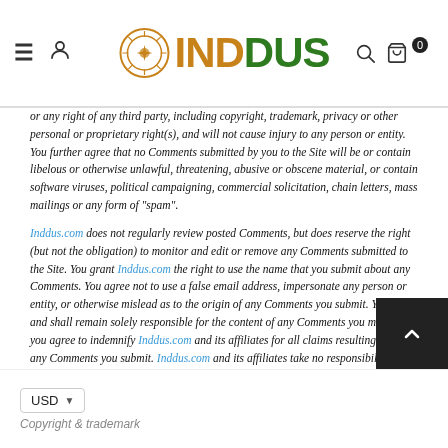INDDUS
or any right of any third party, including copyright, trademark, privacy or other personal or proprietary right(s), and will not cause injury to any person or entity. You further agree that no Comments submitted by you to the Site will be or contain libelous or otherwise unlawful, threatening, abusive or obscene material, or contain software viruses, political campaigning, commercial solicitation, chain letters, mass mailings or any form of "spam".
Inddus.com does not regularly review posted Comments, but does reserve the right (but not the obligation) to monitor and edit or remove any Comments submitted to the Site. You grant Inddus.com the right to use the name that you submit about any Comments. You agree not to use a false email address, impersonate any person or entity, or otherwise mislead as to the origin of any Comments you submit. You are and shall remain solely responsible for the content of any Comments you make and you agree to indemnify Inddus.com and its affiliates for all claims resulting from any Comments you submit. Inddus.com and its affiliates take no responsibility and assume no liability for any Comments submitted by you or any third party.
USD
Copyright & trademark